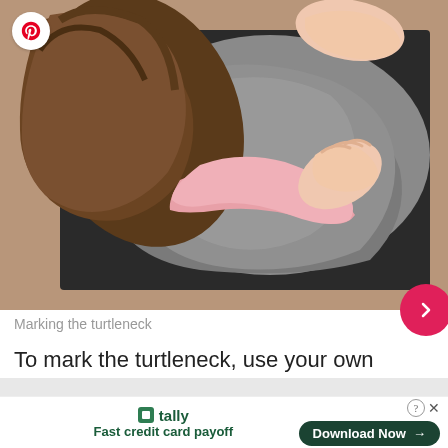[Figure (photo): Overhead view of a person in a pink long-sleeve shirt leaning over a gray fabric garment on a dark cutting mat, marking the turtleneck neckline with their hands.]
Marking the turtleneck
To mark the turtleneck, use your own turtleneck and trace on the neckline. Align the shoulder seams.
[Figure (infographic): Advertisement banner for Tally app: 'Fast credit card payoff' with a Download Now button and close/question controls.]